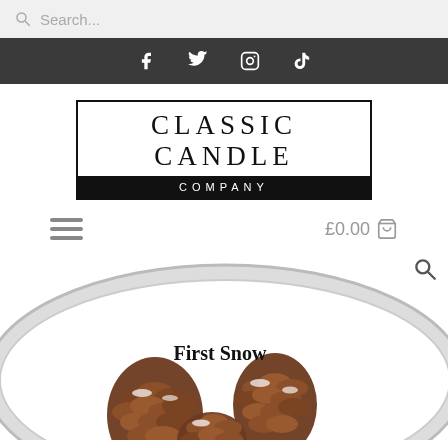Search...
[Figure (screenshot): Social media icons bar with Facebook, Twitter, Instagram, TikTok icons on dark background]
[Figure (logo): Classic Candle Company logo with serif text in bordered box, black bottom bar with COMPANY text]
[Figure (screenshot): Navigation bar with hamburger menu icon on left and £0.00 cart on right]
[Figure (photo): Candle lid with oval silver border showing pinecones with snow labeled First Snow, with Classic Candle branding at bottom]